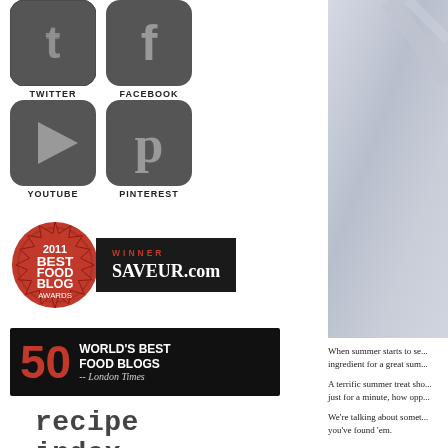[Figure (logo): Twitter social media icon - dark rounded square with bird/T symbol]
TWITTER
[Figure (logo): Facebook social media icon - dark rounded square with f symbol]
FACEBOOK
[Figure (logo): YouTube social media icon - dark rounded square with play button triangle]
YOUTUBE
[Figure (logo): Pinterest social media icon - dark rounded square with P symbol]
PINTEREST
[Figure (logo): 2011 Best Food Blog Awards seal from SAVEUR.com - red wax seal with black banner]
[Figure (logo): 50 World's Best Food Blogs - London Times badge, black background with red 50]
recipe index
[Figure (photo): Light blue-grey photo cropped on right side of page]
When summer starts to se... ingredient for a great sum...
A terrific summer treat sho... just for a minute, how opp...
We're talking about somet... you've found 'em.